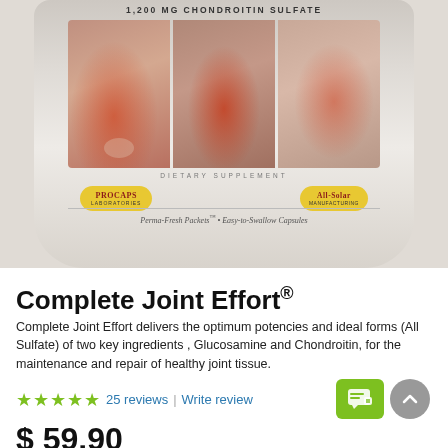[Figure (photo): Product shot of Complete Joint Effort supplement bag by ProCaps Laboratories / All-Solar Manufacturing, showing three panels of joint pain imagery (knee, elbow, wrist) with red inflammation highlights. Bag reads '1,200 MG CHONDROITIN SULFATE', 'DIETARY SUPPLEMENT', logos for ProCaps Laboratories and All-Solar Manufacturing, and 'Perma-Fresh Packets • Easy-to-Swallow Capsules']
Complete Joint Effort®
Complete Joint Effort delivers the optimum potencies and ideal forms (All Sulfate) of two key ingredients , Glucosamine and Chondroitin, for the maintenance and repair of healthy joint tissue.
★★★★★ 25 reviews | Write review
$ 59.90